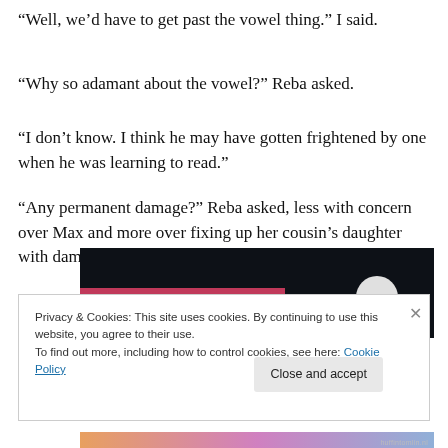“Well, we’d have to get past the vowel thing.” I said.
“Why so adamant about the vowel?” Reba asked.
“I don’t know. I think he may have gotten frightened by one when he was learning to read.”
“Any permanent damage?” Reba asked, less with concern over Max and more over fixing up her cousin’s daughter with damaged goods.
[Figure (illustration): Dark navy background image partially visible, with a pink/magenta horizontal bar and a white circle element on the right side, partially cropped.]
Privacy & Cookies: This site uses cookies. By continuing to use this website, you agree to their use.
To find out more, including how to control cookies, see here: Cookie Policy
Close and accept